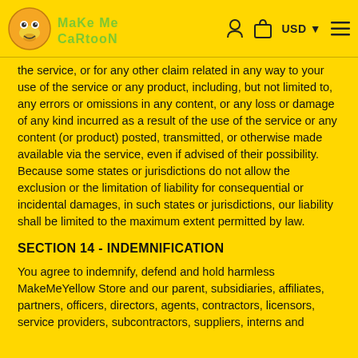Make Me Cartoon — navigation header with logo, cart icon, user icon, USD selector, menu
the service, or for any other claim related in any way to your use of the service or any product, including, but not limited to, any errors or omissions in any content, or any loss or damage of any kind incurred as a result of the use of the service or any content (or product) posted, transmitted, or otherwise made available via the service, even if advised of their possibility. Because some states or jurisdictions do not allow the exclusion or the limitation of liability for consequential or incidental damages, in such states or jurisdictions, our liability shall be limited to the maximum extent permitted by law.
SECTION 14 - INDEMNIFICATION
You agree to indemnify, defend and hold harmless MakeMeYellow Store and our parent, subsidiaries, affiliates, partners, officers, directors, agents, contractors, licensors, service providers, subcontractors, suppliers, interns and